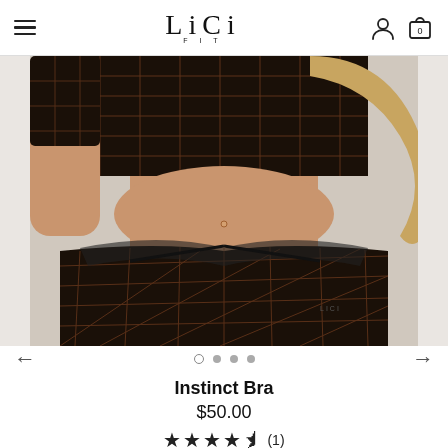LiCi FIT — navigation header with hamburger menu, logo, user icon, and cart (0)
[Figure (photo): Close-up photo of a woman wearing a dark brown/black patterned athletic bra and matching high-waist leggings with a crossover waistband. The pattern appears to be an abstract grid/map print in brown on black. The brand logo 'LICI' is visible on the waistband.]
Instinct Bra
$50.00
★★★★½ (1)